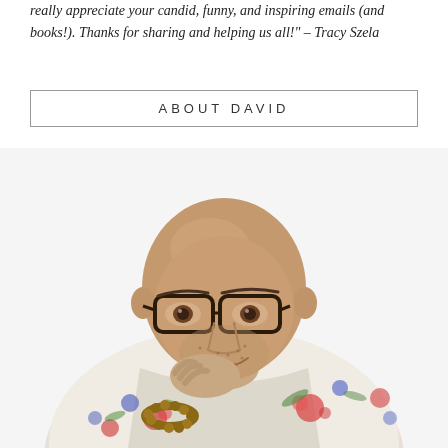really appreciate your candid, funny, and inspiring emails (and books!). Thanks for sharing and helping us all!" – Tracy Szela
ABOUT DAVID
[Figure (photo): Portrait photo of a bald man with dark-framed glasses, smiling, resting his chin on his hand. He is wearing a colorful floral shirt and a beaded bracelet. White background.]